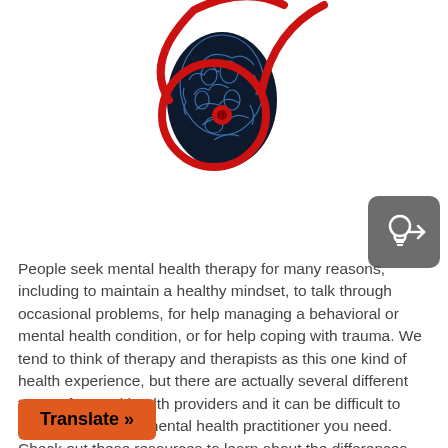[Figure (illustration): Illustration of a human head silhouette with brain anatomy shown in blue, overlaid with a red stethoscope forming a circular shape around the head.]
[Figure (other): Gray rounded square button icon with a white lightbulb/idea symbol inside.]
People seek mental health therapy for many reasons, including to maintain a healthy mindset, to talk through occasional problems, for help managing a behavioral or mental health condition, or for help coping with trauma. We tend to think of therapy and therapists as this one kind of health experience, but there are actually several different types of mental health providers and it can be difficult to know what kind of mental health practitioner you need. Check out these resources to learn about the differences between mental health practitioners.
Translate »